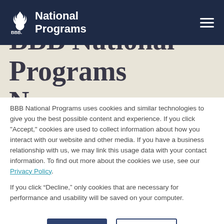BBB National Programs
[Figure (screenshot): BBB National Programs large serif heading partially visible on a beige/cream background]
BBB National Programs uses cookies and similar technologies to give you the best possible content and experience. If you click "Accept," cookies are used to collect information about how you interact with our website and other media. If you have a business relationship with us, we may link this usage data with your contact information. To find out more about the cookies we use, see our Privacy Policy.
If you click “Decline,” only cookies that are necessary for performance and usability will be saved on your computer.